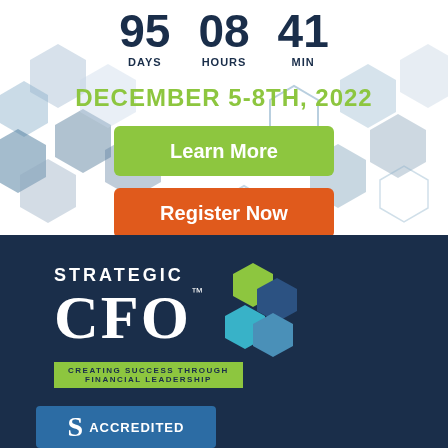95 DAYS  08 HOURS  41 MIN
DECEMBER 5-8TH, 2022
Learn More
Register Now
[Figure (logo): Strategic CFO logo with hexagon icons and tagline 'CREATING SUCCESS THROUGH FINANCIAL LEADERSHIP' on dark navy background]
[Figure (logo): BBB Accredited badge partial, dark blue with S logo and ACCREDITED text]